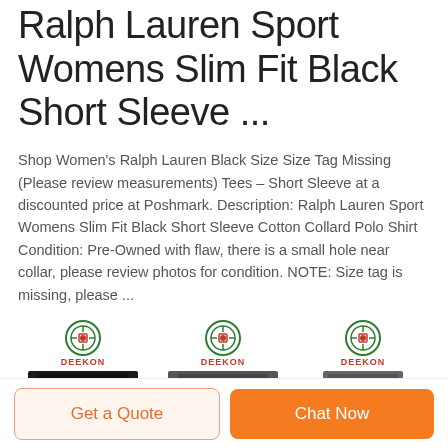Ralph Lauren Sport Womens Slim Fit Black Short Sleeve ...
Shop Women's Ralph Lauren Black Size Size Tag Missing (Please review measurements) Tees – Short Sleeve at a discounted price at Poshmark. Description: Ralph Lauren Sport Womens Slim Fit Black Short Sleeve Cotton Collard Polo Shirt Condition: Pre-Owned with flaw, there is a small hole near collar, please review photos for condition. NOTE: Size tag is missing, please ...
[Figure (photo): Three product images each with a DEEKON logo above them. First image shows a black shirt with a floral emblem design. Second shows a dark leather/fabric item. Third shows a dark collar/strap item. Each has a circular DEEKON logo in green and red above it.]